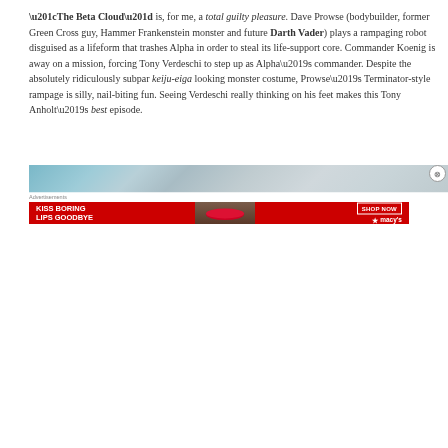“The Beta Cloud” is, for me, a total guilty pleasure. Dave Prowse (bodybuilder, former Green Cross guy, Hammer Frankenstein monster and future Darth Vader) plays a rampaging robot disguised as a lifeform that trashes Alpha in order to steal its life-support core. Commander Koenig is away on a mission, forcing Tony Verdeschi to step up as Alpha’s commander. Despite the absolutely ridiculously subpar keiju-eiga looking monster costume, Prowse’s Terminator-style rampage is silly, nail-biting fun. Seeing Verdeschi really thinking on his feet makes this Tony Anholt’s best episode.
[Figure (photo): Partial image strip visible at bottom of article area, appears to be a scene from a TV show or film]
Advertisements
[Figure (photo): Macy's advertisement banner: KISS BORING LIPS GOODBYE with SHOP NOW button and Macy's star logo on red background]